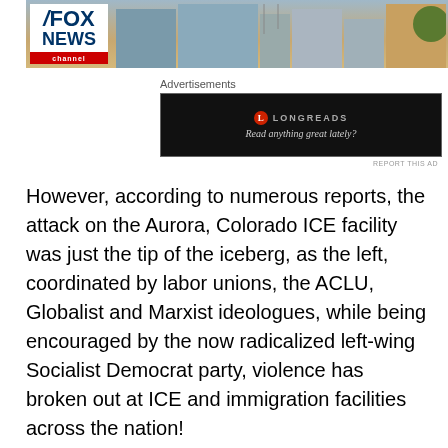[Figure (screenshot): Fox News channel logo overlaid on a building background image]
Advertisements
[Figure (screenshot): Longreads advertisement: black background with Longreads logo and tagline 'Read anything great lately?']
REPORT THIS AD
However, according to numerous reports, the attack on the Aurora, Colorado ICE facility was just the tip of the iceberg, as the left, coordinated by labor unions, the ACLU, Globalist and Marxist ideologues, while being encouraged by the now radicalized left-wing Socialist Democrat party, violence has broken out at ICE and immigration facilities across the nation!